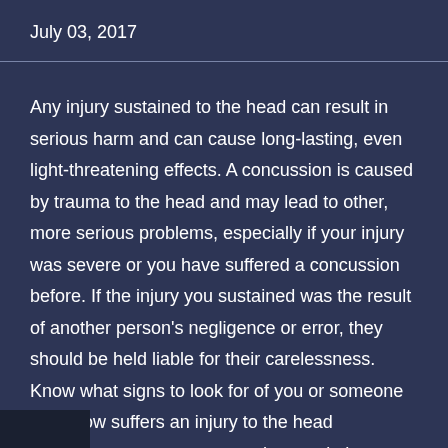July 03, 2017
Any injury sustained to the head can result in serious harm and can cause long-lasting, even light-threatening effects. A concussion is caused by trauma to the head and may lead to other, more serious problems, especially if your injury was severe or you have suffered a concussion before. If the injury you sustained was the result of another person's negligence or error, they should be held liable for their carelessness. Know what signs to look for of you or someone you know suffers an injury to the head you can ensure they seek the medical and legal